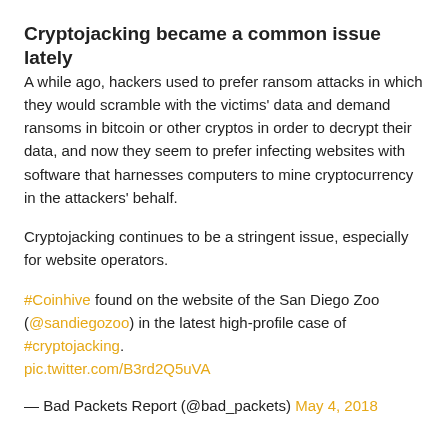Cryptojacking became a common issue lately
A while ago, hackers used to prefer ransom attacks in which they would scramble with the victims’ data and demand ransoms in bitcoin or other cryptos in order to decrypt their data, and now they seem to prefer infecting websites with software that harnesses computers to mine cryptocurrency in the attackers’ behalf.
Cryptojacking continues to be a stringent issue, especially for website operators.
#Coinhive found on the website of the San Diego Zoo (@sandiegozoo) in the latest high-profile case of #cryptojacking. pic.twitter.com/B3rd2Q5uVA
— Bad Packets Report (@bad_packets) May 4, 2018